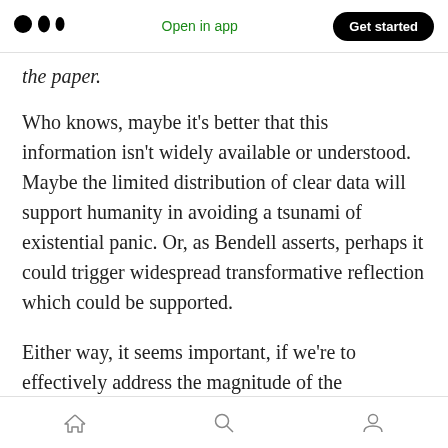Open in app | Get started
the paper.
Who knows, maybe it's better that this information isn't widely available or understood. Maybe the limited distribution of clear data will support humanity in avoiding a tsunami of existential panic. Or, as Bendell asserts, perhaps it could trigger widespread transformative reflection which could be supported.
Either way, it seems important, if we're to effectively address the magnitude of the challenges we face, that at the very least, the
Home | Search | Profile